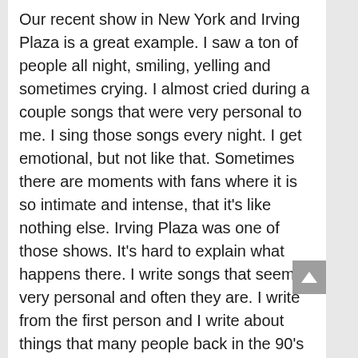Our recent show in New York and Irving Plaza is a great example. I saw a ton of people all night, smiling, yelling and sometimes crying. I almost cried during a couple songs that were very personal to me. I sing those songs every night. I get emotional, but not like that. Sometimes there are moments with fans where it is so intimate and intense, that it's like nothing else. Irving Plaza was one of those shows. It's hard to explain what happens there. I write songs that seem very personal and often they are. I write from the first person and I write about things that many people back in the 90's were not writing about. I was writing stories from a certain perspective. Even as dark as some of them get, there's always a person there somewhere. There's always light at the end of the tunnel. I think that's helped define me as a writer and Everclear as a band. That's the kind of music I want to listen to.